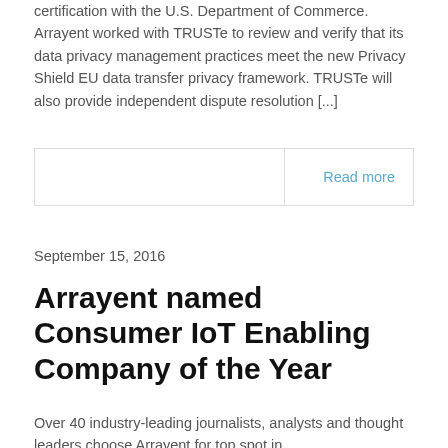certification with the U.S. Department of Commerce. Arrayent worked with TRUSTe to review and verify that its data privacy management practices meet the new Privacy Shield EU data transfer privacy framework. TRUSTe will also provide independent dispute resolution [...]
Read more
September 15, 2016
Arrayent named Consumer IoT Enabling Company of the Year
Over 40 industry-leading journalists, analysts and thought leaders choose Arrayent for top spot in